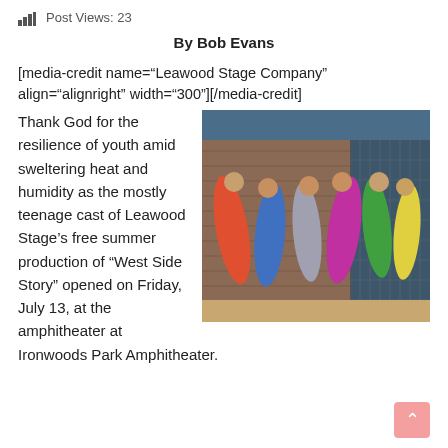Post Views: 23
By Bob Evans
[media-credit name="Leawood Stage Company" align="alignright" width="300"][/media-credit]
[Figure (photo): Performers in colorful dresses dancing on stage in front of a brick wall backdrop with chain-link fence, from Leawood Stage Company production of West Side Story]
Thank God for the resilience of youth amid sweltering heat and humidity as the mostly teenage cast of Leawood Stage's free summer production of “West Side Story” opened on Friday, July 13, at the amphitheater at Ironwoods Park Amphitheater.